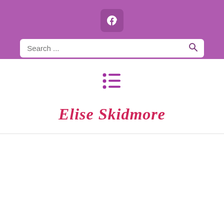[Figure (logo): Purple header with Facebook icon in a rounded square and a search bar below]
[Figure (infographic): Purple bullet list / menu icon made of three lines with purple dots]
Elise Skidmore
We use cookies on our website to give you the most relevant experience by remembering your preferences and repeat visits. By clicking "Accept", you consent to the use of ALL the cookies.
We will never sell your private information.
Cookie Settings  Accept